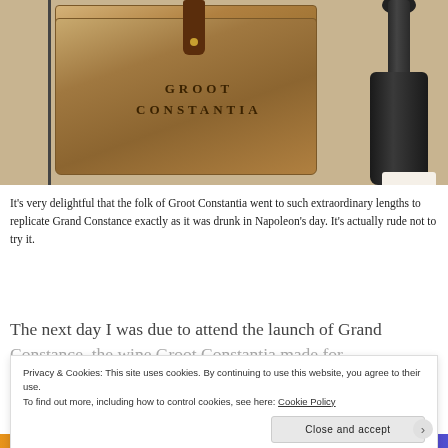[Figure (photo): Photo of a wooden Groot Constantia wine box with branded text and leather strap, alongside a dark wine bottle with Grand Constance label]
It's very delightful that the folk of Groot Constantia went to such extraordinary lengths to replicate Grand Constance exactly as it was drunk in Napoleon's day. It's actually rude not to try it.
The next day I was due to attend the launch of Grand Constance, the wine Groot Constantia made for
Privacy & Cookies: This site uses cookies. By continuing to use this website, you agree to their use.
To find out more, including how to control cookies, see here: Cookie Policy
Close and accept